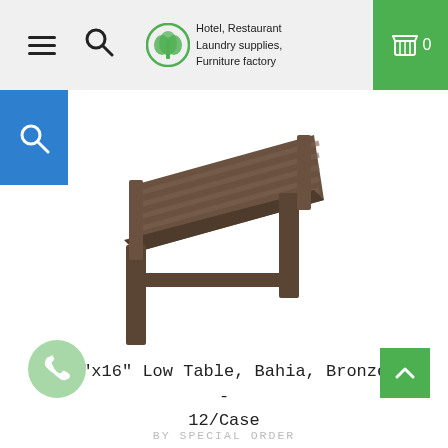Hotel, Restaurant Laundry supplies, Furniture factory
[Figure (logo): Green circular logo with leaf/tree motif]
[Figure (photo): Brown/bronze plastic low side table (Bahia) with slatted top surface and four legs, shown on white background]
16"x16" Low Table, Bahia, Bronze - 12/Case
BY SPECIAL ORDER